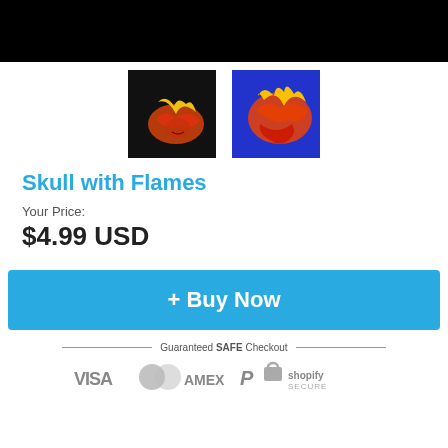[Figure (photo): Black banner image at top of product page]
[Figure (photo): Two thumbnail images of skull with flames design: one on black background, one on blue background]
Skull with Flames
Your Price:
$4.99 USD
+ Buy Now
Guaranteed SAFE Checkout
[Figure (infographic): Payment icons: VISA, Mastercard, AMEX, PayPal, lock icon, Shopify Secure]